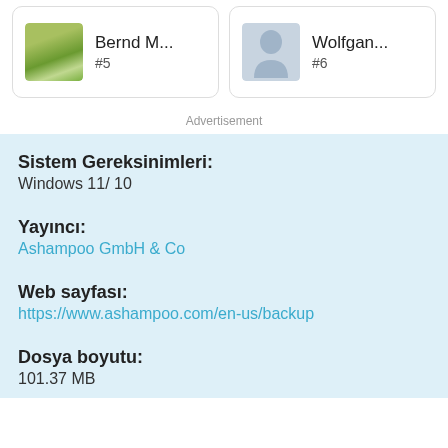[Figure (screenshot): Two user profile cards side by side. Left card shows a tree/orchard photo thumbnail with name 'Bernd M...' and rank '#5'. Right card shows a silhouette avatar with name 'Wolfgan...' and rank '#6'.]
Advertisement
Sistem Gereksinimleri:
Windows 11/ 10
Yayıncı:
Ashampoo GmbH & Co
Web sayfası:
https://www.ashampoo.com/en-us/backup
Dosya boyutu:
101.37 MB